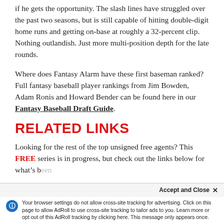if he gets the opportunity. The slash lines have struggled over the past two seasons, but is still capable of hitting double-digit home runs and getting on-base at roughly a 32-percent clip. Nothing outlandish. Just more multi-position depth for the late rounds.
Where does Fantasy Alarm have these first baseman ranked? Full fantasy baseball player rankings from Jim Bowden, Adam Ronis and Howard Bender can be found here in our Fantasy Baseball Draft Guide.
RELATED LINKS
Looking for the rest of the top unsigned free agents? This FREE series is in progress, but check out the links below for what's been...
Accept and Close ×
Your browser settings do not allow cross-site tracking for advertising. Click on this page to allow AdRoll to use cross-site tracking to tailor ads to you. Learn more or opt out of this AdRoll tracking by clicking here. This message only appears once.